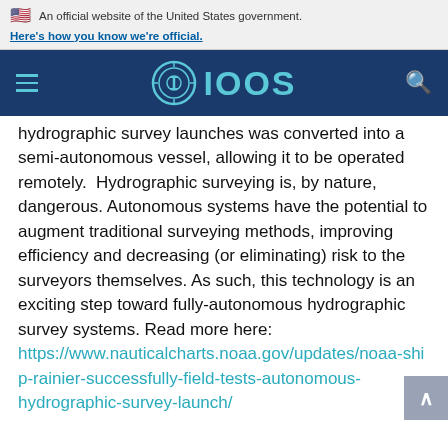An official website of the United States government. Here's how you know we're official.
[Figure (logo): IOOS navigation header with hamburger menu, IOOS circular logo and wordmark in teal on dark blue background, and search icon]
hydrographic survey launches was converted into a semi-autonomous vessel, allowing it to be operated remotely. Hydrographic surveying is, by nature, dangerous. Autonomous systems have the potential to augment traditional surveying methods, improving efficiency and decreasing (or eliminating) risk to the surveyors themselves. As such, this technology is an exciting step toward fully-autonomous hydrographic survey systems. Read more here: https://www.nauticalcharts.noaa.gov/updates/noaa-ship-rainier-successfully-field-tests-autonomous-hydrographic-survey-launch/